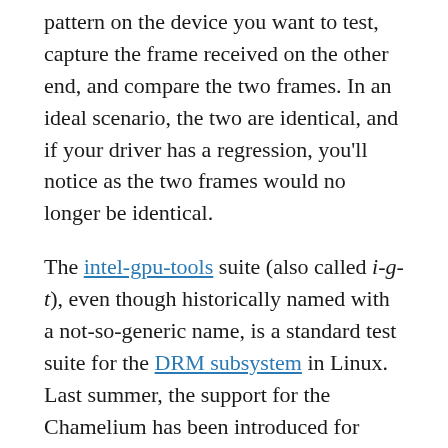pattern on the device you want to test, capture the frame received on the other end, and compare the two frames. In an ideal scenario, the two are identical, and if your driver has a regression, you'll notice as the two frames would no longer be identical.
The intel-gpu-tools suite (also called i-g-t), even though historically named with a not-so-generic name, is a standard test suite for the DRM subsystem in Linux. Last summer, the support for the Chamelium has been introduced for exactly this setup, where intel-gpu-tools would setup a test pattern, ask the Chamelium for a CRC of the frames it received and do the comparison.